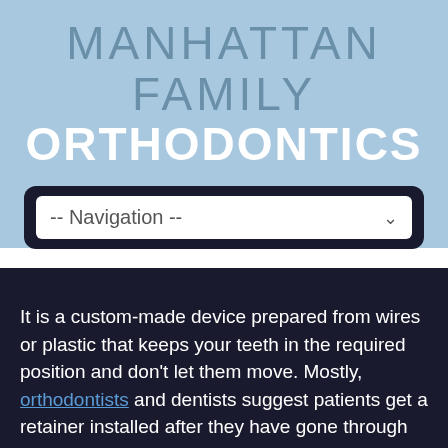MANHATTAN FAMILY ORTHODONTICS
-- Navigation --
It is a custom-made device prepared from wires or plastic that keeps your teeth in the required position and don't let them move. Mostly, orthodontists and dentists suggest patients get a retainer installed after they have gone through Invisalign, corrective surgery, or metal braces. Dental retainers help this process to keep the teeth straight. Your teeth usually take around six months to become permanent in one position. But